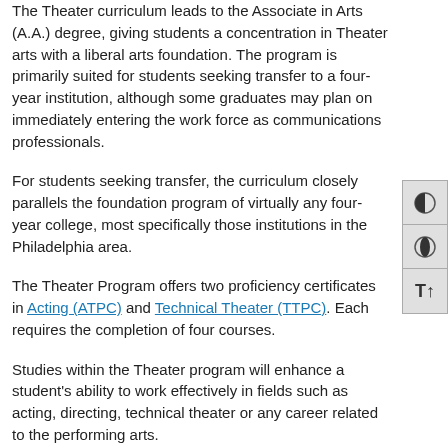The Theater curriculum leads to the Associate in Arts (A.A.) degree, giving students a concentration in Theater arts with a liberal arts foundation. The program is primarily suited for students seeking transfer to a four-year institution, although some graduates may plan on immediately entering the work force as communications professionals.
For students seeking transfer, the curriculum closely parallels the foundation program of virtually any four-year college, most specifically those institutions in the Philadelphia area.
The Theater Program offers two proficiency certificates in Acting (ATPC) and Technical Theater (TTPC). Each requires the completion of four courses.
Studies within the Theater program will enhance a student's ability to work effectively in fields such as acting, directing, technical theater or any career related to the performing arts.